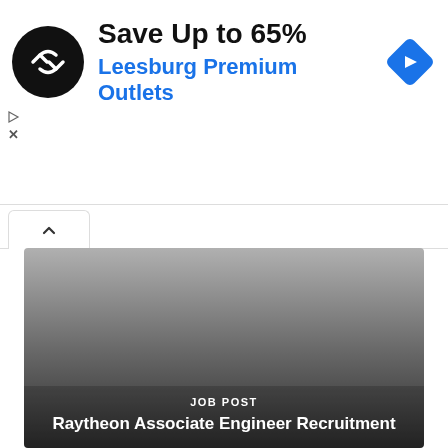[Figure (screenshot): Advertisement banner: circular black logo with double-arrow symbol, text 'Save Up to 65%' in bold black and 'Leesburg Premium Outlets' in blue, with a blue diamond navigation icon on the right. Small play and close icons on the left edge.]
[Figure (screenshot): A collapsed tab bar with an up-arrow chevron tab button, indicating a collapsible UI panel.]
[Figure (photo): Job post card with gradient gray-to-dark background. Text overlay at bottom reads 'JOB POST' in small caps and 'Raytheon Associate Engineer Recruitment' in bold white text.]
JOB POST
Raytheon Associate Engineer Recruitment